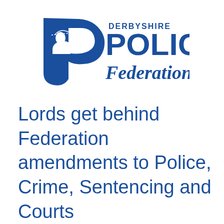[Figure (logo): Derbyshire Police Federation logo — blue shield with officer silhouette on left, 'DERBYSHIRE' in small caps above large 'POLICE' text, and italic 'Federation' below, all in navy/dark blue.]
Lords get behind Federation amendments to Police, Crime, Sentencing and Courts